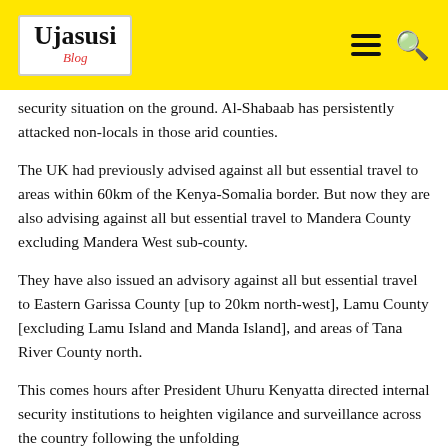Ujasusi Blog
security situation on the ground. Al-Shabaab has persistently attacked non-locals in those arid counties.
The UK had previously advised against all but essential travel to areas within 60km of the Kenya-Somalia border. But now they are also advising against all but essential travel to Mandera County excluding Mandera West sub-county.
They have also issued an advisory against all but essential travel to Eastern Garissa County [up to 20km north-west], Lamu County [excluding Lamu Island and Manda Island], and areas of Tana River County north.
This comes hours after President Uhuru Kenyatta directed internal security institutions to heighten vigilance and surveillance across the country following the unfolding